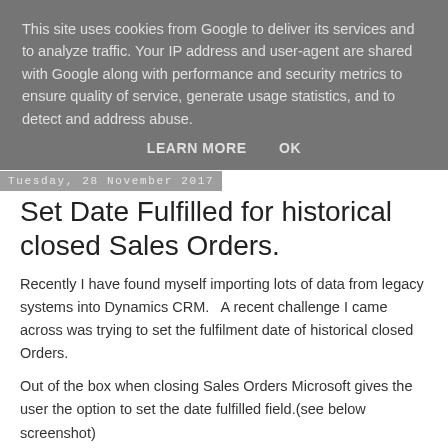This site uses cookies from Google to deliver its services and to analyze traffic. Your IP address and user-agent are shared with Google along with performance and security metrics to ensure quality of service, generate usage statistics, and to detect and address abuse.
LEARN MORE   OK
Tuesday, 28 November 2017
Set Date Fulfilled for historical closed Sales Orders.
Recently I have found myself importing lots of data from legacy systems into Dynamics CRM.   A recent challenge I came across was trying to set the fulfilment date of historical closed Orders.
Out of the box when closing Sales Orders Microsoft gives the user the option to set the date fulfilled field.(see below screenshot)
[Figure (screenshot): Fulfill Sales Document dialog box header]